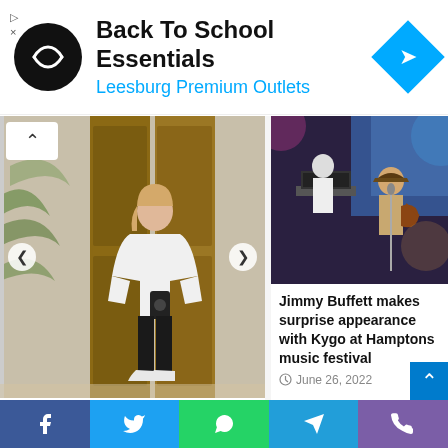[Figure (infographic): Advertisement banner: Back To School Essentials - Leesburg Premium Outlets, with logo and navigation arrow]
[Figure (photo): Mirror selfie of a woman in white hoodie and black pants in a decorated bathroom]
Inside Molly-Mae Hagues incredible bathroom transformation in £3m home
June 26, 2022
[Figure (photo): Concert photo showing Jimmy Buffett and Kygo performing on stage]
Jimmy Buffett makes surprise appearance with Kygo at Hamptons music festival
June 26, 2022